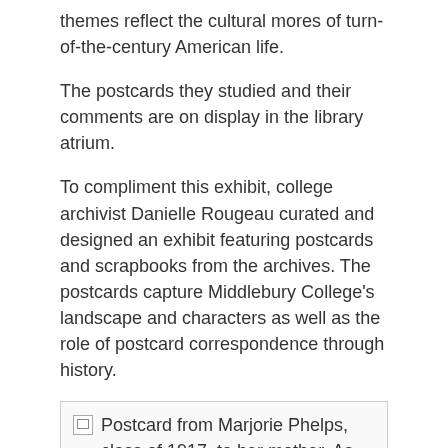themes reflect the cultural mores of turn-of-the-century American life.
The postcards they studied and their comments are on display in the library atrium.
To compliment this exhibit, college archivist Danielle Rougeau curated and designed an exhibit featuring postcards and scrapbooks from the archives. The postcards capture Middlebury College's landscape and characters as well as the role of postcard correspondence through history.
[Figure (photo): Broken image placeholder with alt text: Postcard from Marjorie Phelps, class of 1917, to her mother. As she mentions, she and her roommate are pictured on the reverse.]
Postcard from Marjorie Phelps, class of 1917, to her mother. As she mentions, she and her roommate are pictured on the reverse.
Rounding out our summer exhibits is a tribute to Margaret